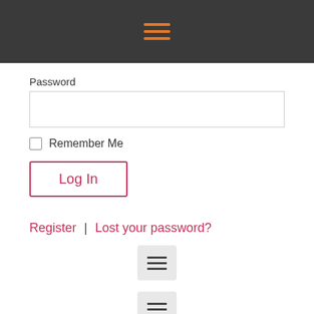[Figure (infographic): Dark grey top navigation bar with an orange hamburger menu icon (three horizontal orange lines) centered in the bar.]
Password
[Figure (infographic): Password input text field, empty, with a thin grey border.]
Remember Me
[Figure (infographic): Log In button with pink/magenta border and text on white background.]
Register | Lost your password?
[Figure (infographic): Light grey square button with three dark horizontal lines (hamburger icon).]
[Figure (infographic): Light grey square button with three dark horizontal lines (hamburger icon).]
Show Time
SHOW TIME Produ... Annhuncts... McKell... Conta...